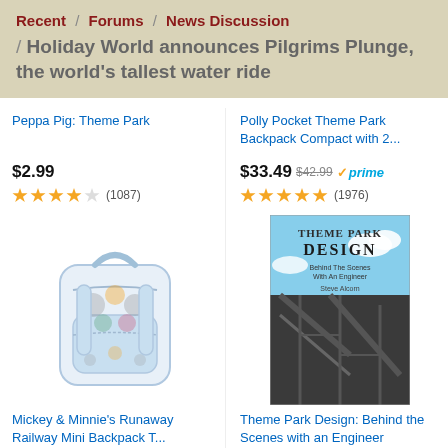Recent / Forums / News Discussion / Holiday World announces Pilgrims Plunge, the world's tallest water ride
Peppa Pig: Theme Park
$2.99
(1087)
Polly Pocket Theme Park Backpack Compact with 2...
$33.49 $42.99 prime
(1976)
[Figure (illustration): Mickey & Minnie's Runaway Railway Mini Backpack - white with character prints]
[Figure (photo): Book cover: Theme Park Design: Behind The Scenes With An Engineer by Steve Alcorn, showing roller coaster]
Mickey & Minnie's Runaway Railway Mini Backpack T...
$84.90 prime
(4)
Theme Park Design: Behind the Scenes with an Engineer
$17.99 $19.95
(94)
Ads by Amazon